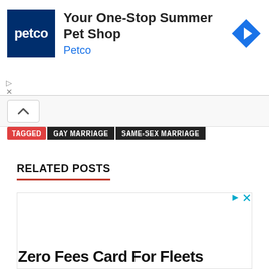[Figure (screenshot): Petco advertisement banner with Petco logo, headline 'Your One-Stop Summer Pet Shop', subtext 'Petco', and a blue diamond navigation icon on the right]
TAGGED   GAY MARRIAGE   SAME-SEX MARRIAGE
RELATED POSTS
[Figure (screenshot): Advertisement block with ad controls (play and close buttons) at top right, content area mostly blank, with text 'Zero Fees Card For Fleets' at the bottom]